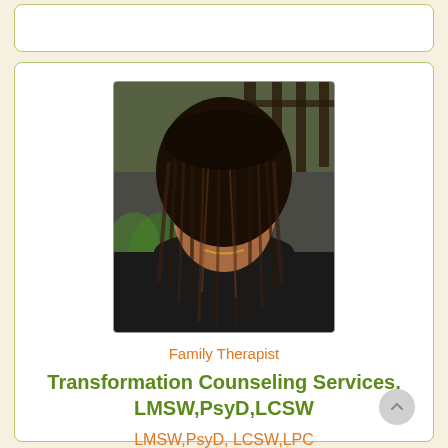[Figure (photo): Portrait photo of a Black woman with long dreadlocks, wearing a black blazer and gold necklace, smiling slightly, with an outdoor background]
Family Therapist
Transformation Counseling Services, LMSW,PsyD,LCSW
LMSW,PsyD, LCSW,LPC
Available for Online Therapy